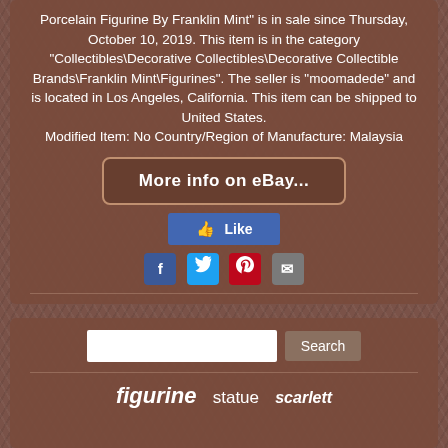Porcelain Figurine By Franklin Mint" is in sale since Thursday, October 10, 2019. This item is in the category "Collectibles\Decorative Collectibles\Decorative Collectible Brands\Franklin Mint\Figurines". The seller is "moomadede" and is located in Los Angeles, California. This item can be shipped to United States. Modified Item: No Country/Region of Manufacture: Malaysia
[Figure (screenshot): eBay button with text 'More info on eBay...' styled as a rounded rectangle button with brown background and light border]
[Figure (screenshot): Facebook Like button in blue]
[Figure (screenshot): Social share icons: Facebook (blue), Twitter (light blue), Pinterest (red), Email (gray)]
figurine   statue   scarlett
[Figure (screenshot): Search bar with text input field and Search button]